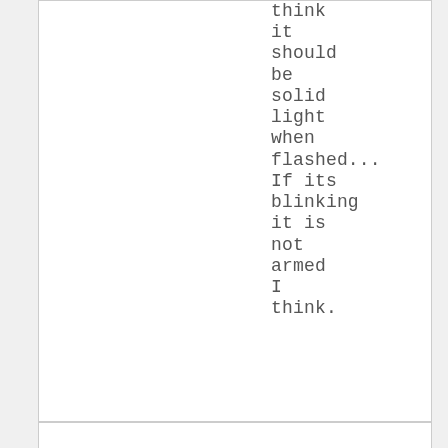think it should be solid light when flashed... If its blinking it is not armed I think.